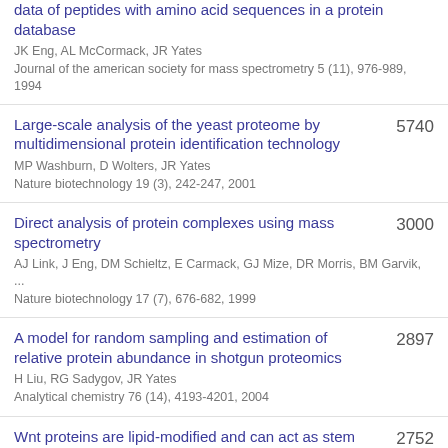data of peptides with amino acid sequences in a protein database
JK Eng, AL McCormack, JR Yates
Journal of the american society for mass spectrometry 5 (11), 976-989, 1994
Large-scale analysis of the yeast proteome by multidimensional protein identification technology
MP Washburn, D Wolters, JR Yates
Nature biotechnology 19 (3), 242-247, 2001
5740
Direct analysis of protein complexes using mass spectrometry
AJ Link, J Eng, DM Schieltz, E Carmack, GJ Mize, DR Morris, BM Garvik, ...
Nature biotechnology 17 (7), 676-682, 1999
3000
A model for random sampling and estimation of relative protein abundance in shotgun proteomics
H Liu, RG Sadygov, JR Yates
Analytical chemistry 76 (14), 4193-4201, 2004
2897
Wnt proteins are lipid-modified and can act as stem cell growth factors
2752